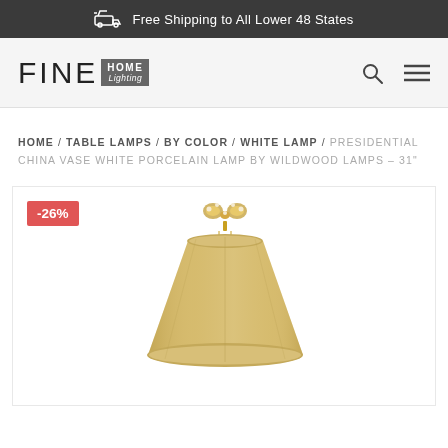Free Shipping to All Lower 48 States
[Figure (logo): Fine Home Lighting logo with search and menu icons]
HOME / TABLE LAMPS / BY COLOR / WHITE LAMP / PRESIDENTIAL CHINA VASE WHITE PORCELAIN LAMP BY WILDWOOD LAMPS – 31"
[Figure (photo): Product photo of a lamp with beige/gold lampshade and ornate gold finial, showing -26% discount badge]